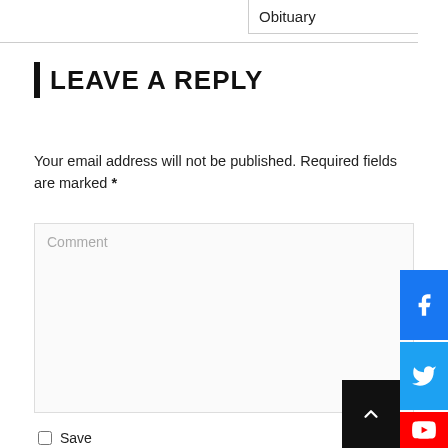Obituary
LEAVE A REPLY
Your email address will not be published. Required fields are marked *
[Figure (screenshot): Comment text input area (empty, placeholder text 'Comment')]
Save